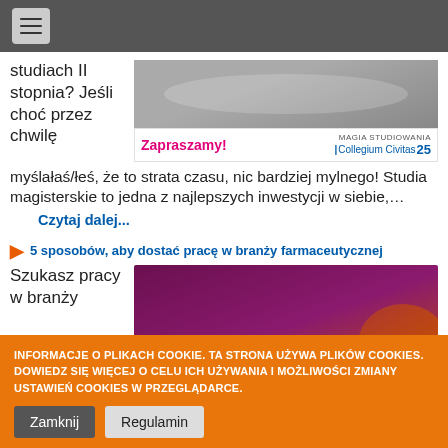☰ (navigation menu)
studiach II stopnia? Jeśli choć przez chwilę myślałaś/łeś, że to strata czasu, nic bardziej mylnego! Studia magisterskie to jedna z najlepszych inwestycji w siebie,…
[Figure (photo): Photo of two people with books/documents, advertisement for Collegium Civitas with 'Zapraszamy!' heading and logo]
Czytaj dalej...
5 sposobów, aby dostać pracę w branży farmaceutycznej
Szukasz pracy w branży
[Figure (photo): Darmowy Webinar promotional image with purple background and person silhouette, text '5 sposobów, aby dostać pracę w branży farmaceutycznej']
INFORMACJE O PLIKACH COOKIE. TA STRONA UŻYWA PLIKÓW COOKIES. DOWIEDZ SIĘ WIĘCEJ O CELU ICH UŻYWANIA I MOŻLIWOŚCI ZMIANY USTAWIEŃ COOKIES W PRZEGLĄDARCE.
Zamknij
Regulamin